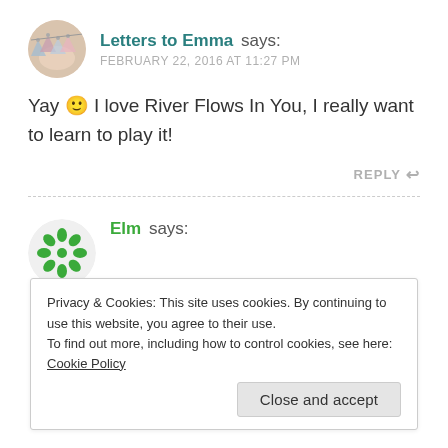[Figure (illustration): Round avatar photo of Letters to Emma, showing decorative bunting/pennants with floral pattern]
Letters to Emma says:
FEBRUARY 22, 2016 AT 11:27 PM
Yay 🙂 I love River Flows In You, I really want to learn to play it!
REPLY
[Figure (logo): Round green avatar for Elm with decorative green circular pattern]
Elm says:
Privacy & Cookies: This site uses cookies. By continuing to use this website, you agree to their use.
To find out more, including how to control cookies, see here: Cookie Policy
Close and accept